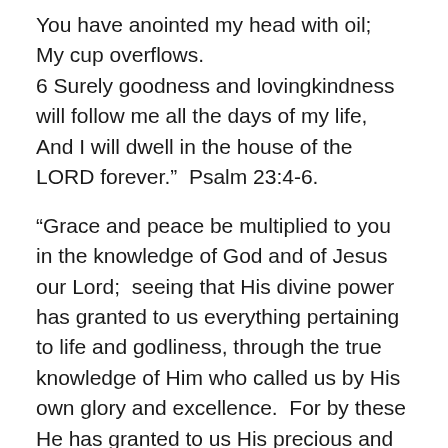You have anointed my head with oil; My cup overflows. 6 Surely goodness and lovingkindness will follow me all the days of my life, And I will dwell in the house of the LORD forever."  Psalm 23:4-6.
“Grace and peace be multiplied to you in the knowledge of God and of Jesus our Lord;  seeing that His divine power has granted to us everything pertaining to life and godliness, through the true knowledge of Him who called us by His own glory and excellence.  For by these He has granted to us His precious and magnificent promises, so that by them you may become partakers of the divine nature, having escaped the corruption that is in the world by lust.”  2 Peter 1:2-4.